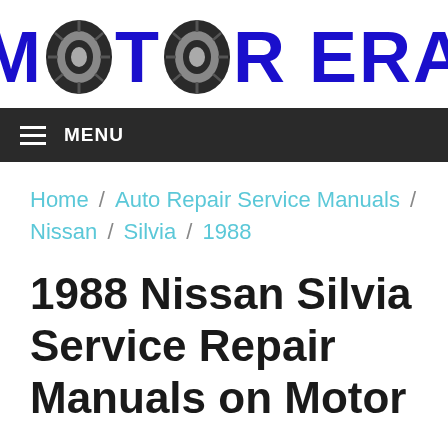[Figure (logo): Motor Era logo with tire graphics replacing the letters O in MOTOR and an O shape in ERA, text in bold blue]
MENU
Home / Auto Repair Service Manuals / Nissan / Silvia / 1988
1988 Nissan Silvia Service Repair Manuals on Motor